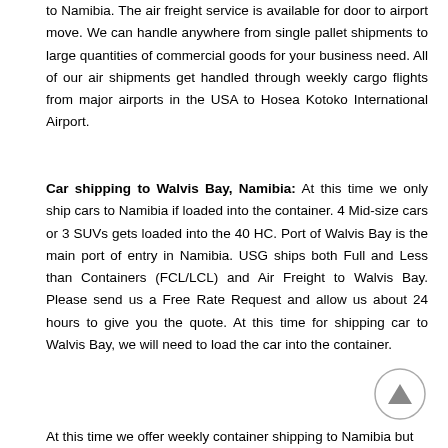to Namibia. The air freight service is available for door to airport move. We can handle anywhere from single pallet shipments to large quantities of commercial goods for your business need. All of our air shipments get handled through weekly cargo flights from major airports in the USA to Hosea Kotoko International Airport.
Car shipping to Walvis Bay, Namibia: At this time we only ship cars to Namibia if loaded into the container. 4 Mid-size cars or 3 SUVs gets loaded into the 40 HC. Port of Walvis Bay is the main port of entry in Namibia. USG ships both Full and Less than Containers (FCL/LCL) and Air Freight to Walvis Bay. Please send us a Free Rate Request and allow us about 24 hours to give you the quote. At this time for shipping car to Walvis Bay, we will need to load the car into the container.
At this time we offer weekly container shipping to Namibia but